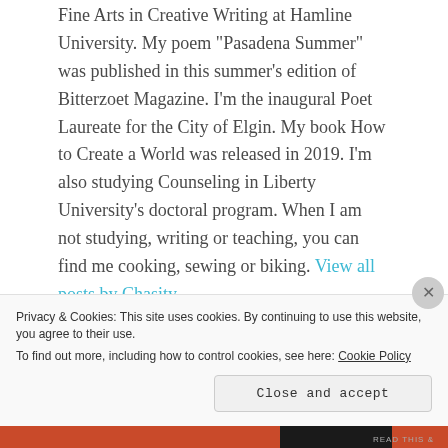Fine Arts in Creative Writing at Hamline University. My poem "Pasadena Summer" was published in this summer's edition of Bitterzoet Magazine. I'm the inaugural Poet Laureate for the City of Elgin. My book How to Create a World was released in 2019. I'm also studying Counseling in Liberty University's doctoral program. When I am not studying, writing or teaching, you can find me cooking, sewing or biking. View all posts by Chasity
Privacy & Cookies: This site uses cookies. By continuing to use this website, you agree to their use. To find out more, including how to control cookies, see here: Cookie Policy
Close and accept